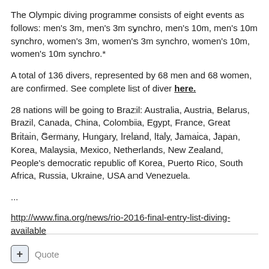The Olympic diving programme consists of eight events as follows: men's 3m, men's 3m synchro, men's 10m, men's 10m synchro, women's 3m, women's 3m synchro, women's 10m, women's 10m synchro.*
A total of 136 divers, represented by 68 men and 68 women, are confirmed. See complete list of diver here.
28 nations will be going to Brazil: Australia, Austria, Belarus, Brazil, Canada, China, Colombia, Egypt, France, Great Britain, Germany, Hungary, Ireland, Italy, Jamaica, Japan, Korea, Malaysia, Mexico, Netherlands, New Zealand, People's democratic republic of Korea, Puerto Rico, South Africa, Russia, Ukraine, USA and Venezuela.
...
http://www.fina.org/news/rio-2016-final-entry-list-diving-available
+ Quote